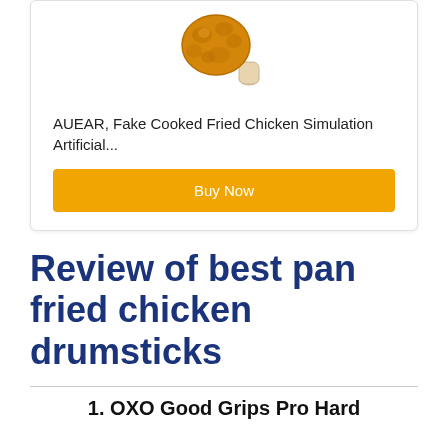[Figure (photo): Fried chicken drumstick product image shown at top of a product card]
AUEAR, Fake Cooked Fried Chicken Simulation Artificial...
Buy Now
Review of best pan fried chicken drumsticks
1. OXO Good Grips Pro Hard